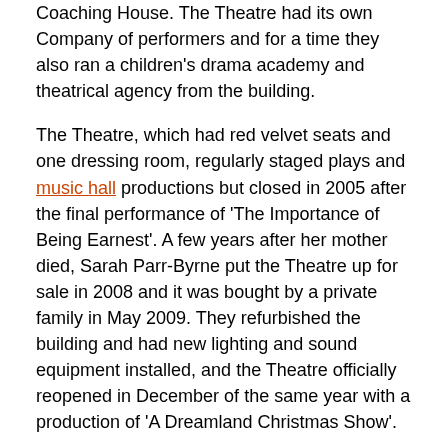Coaching House. The Theatre had its own Company of performers and for a time they also ran a children's drama academy and theatrical agency from the building.
The Theatre, which had red velvet seats and one dressing room, regularly staged plays and music hall productions but closed in 2005 after the final performance of 'The Importance of Being Earnest'. A few years after her mother died, Sarah Parr-Byrne put the Theatre up for sale in 2008 and it was bought by a private family in May 2009. They refurbished the building and had new lighting and sound equipment installed, and the Theatre officially reopened in December of the same year with a production of 'A Dreamland Christmas Show'.
You may like to visit the Theatre's own website here.
If you have any more information or images for this Theatre that you are willing to share please Contact me.
The Hippodrome Theatre, Cecil Square and